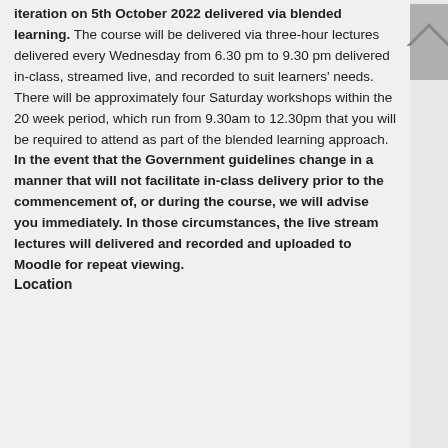iteration on 5th October 2022 delivered via blended learning. The course will be delivered via three-hour lectures delivered every Wednesday from 6.30 pm to 9.30 pm delivered in-class, streamed live, and recorded to suit learners' needs. There will be approximately four Saturday workshops within the 20 week period, which run from 9.30am to 12.30pm that you will be required to attend as part of the blended learning approach.
In the event that the Government guidelines change in a manner that will not facilitate in-class delivery prior to the commencement of, or during the course, we will advise you immediately. In those circumstances, the live stream lectures will delivered and recorded and uploaded to Moodle for repeat viewing.
Location